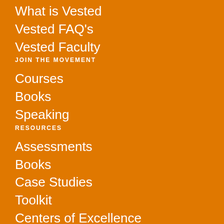What is Vested
Vested FAQ's
Vested Faculty
JOIN THE MOVEMENT
Courses
Books
Speaking
RESOURCES
Assessments
Books
Case Studies
Toolkit
Centers of Excellence
MEDIA